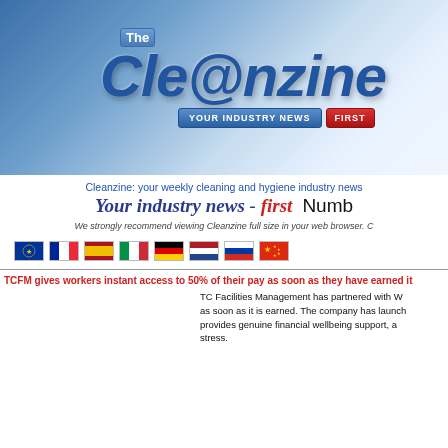[Figure (logo): The Cleanzine logo banner with blue gradient background, large stylized text 'CLE@NZINE', tagline buttons 'YOUR INDUSTRY NEWS' and 'FIRST']
Cleanzine: your weekly cleaning and hygiene industry news
Your industry news - first   Number
We strongly recommend viewing Cleanzine full size in your web browser. C
[Figure (other): Row of country flag icons: EU/world, French, Spanish, Italian, German, Dutch, Russian, Chinese]
TCFM gives workers instant access to 50% of their pay as soon as they have earned it
TC Facilities Management has partnered with W as soon as it is earned. The company has launched provides genuine financial wellbeing support, a stress.